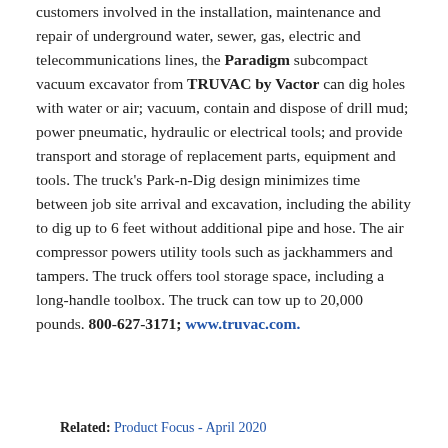customers involved in the installation, maintenance and repair of underground water, sewer, gas, electric and telecommunications lines, the Paradigm subcompact vacuum excavator from TRUVAC by Vactor can dig holes with water or air; vacuum, contain and dispose of drill mud; power pneumatic, hydraulic or electrical tools; and provide transport and storage of replacement parts, equipment and tools. The truck's Park-n-Dig design minimizes time between job site arrival and excavation, including the ability to dig up to 6 feet without additional pipe and hose. The air compressor powers utility tools such as jackhammers and tampers. The truck offers tool storage space, including a long-handle toolbox. The truck can tow up to 20,000 pounds. 800-627-3171; www.truvac.com.
Related: Product Focus - April 2020